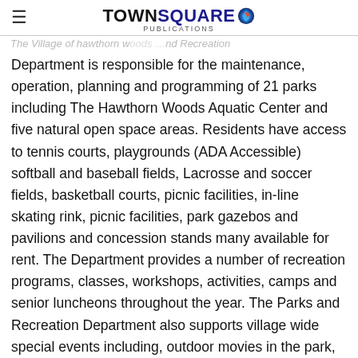TOWN SQUARE PUBLICATIONS
The Village of hawthorn woods … and Recreation Department is responsible for the maintenance, operation, planning and programming of 21 parks including The Hawthorn Woods Aquatic Center and five natural open space areas. Residents have access to tennis courts, playgrounds (ADA Accessible) softball and baseball fields, Lacrosse and soccer fields, basketball courts, picnic facilities, in-line skating rink, picnic facilities, park gazebos and pavilions and concession stands many available for rent. The Department provides a number of recreation programs, classes, workshops, activities, camps and senior luncheons throughout the year. The Parks and Recreation Department also supports village wide special events including, outdoor movies in the park, summer concerts in the park, car shows, Winter Carnival, Bark in The Park, Independence Celebration Fireworks and Parade,